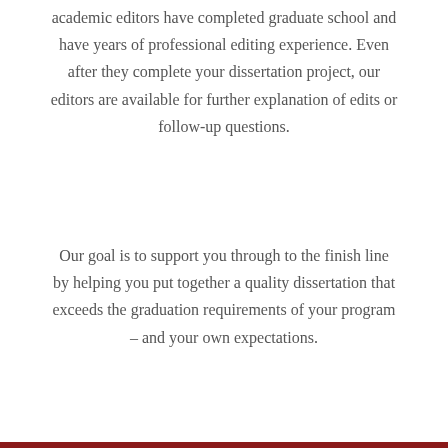academic editors have completed graduate school and have years of professional editing experience. Even after they complete your dissertation project, our editors are available for further explanation of edits or follow-up questions.
Our goal is to support you through to the finish line by helping you put together a quality dissertation that exceeds the graduation requirements of your program – and your own expectations.